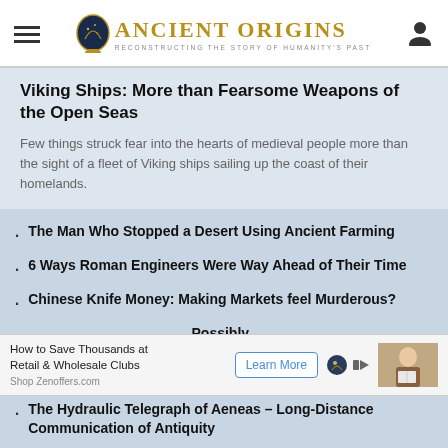Ancient Origins — Reconstructing the story of humanity's past
Viking Ships: More than Fearsome Weapons of the Open Seas
Few things struck fear into the hearts of medieval people more than the sight of a fleet of Viking ships sailing up the coast of their homelands.
The Man Who Stopped a Desert Using Ancient Farming
6 Ways Roman Engineers Were Way Ahead of Their Time
Chinese Knife Money: Making Markets feel Murderous?
Possibly Japanese
[Figure (infographic): Advertisement banner: How to Save Thousands at Retail & Wholesale Clubs, Shop Zenoffers.com, with Learn More button and photo of woman reading]
The Hydraulic Telegraph of Aeneas – Long-Distance Communication of Antiquity